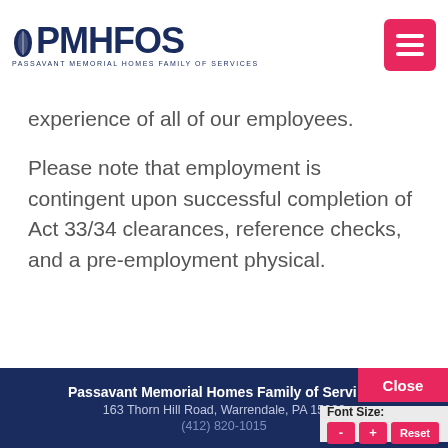PMHFOS — Passavant Memorial Homes Family Of Services
experience of all of our employees.
Please note that employment is contingent upon successful completion of Act 33/34 clearances, reference checks, and a pre-employment physical.
Passavant Memorial Homes Family of Services
163 Thorn Hill Road, Warrendale, PA 15086
(412) 820-1015